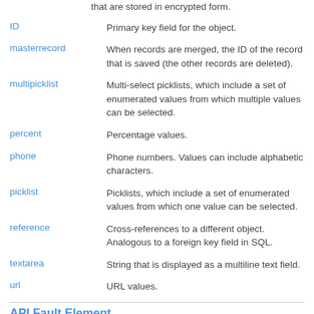that are stored in encrypted form.
ID — Primary key field for the object.
masterrecord — When records are merged, the ID of the record that is saved (the other records are deleted).
multipicklist — Multi-select picklists, which include a set of enumerated values from which multiple values can be selected.
percent — Percentage values.
phone — Phone numbers. Values can include alphabetic characters.
picklist — Picklists, which include a set of enumerated values from which one value can be selected.
reference — Cross-references to a different object. Analogous to a foreign key field in SQL.
textarea — String that is displayed as a multiline text field.
url — URL values.
API Fault Element